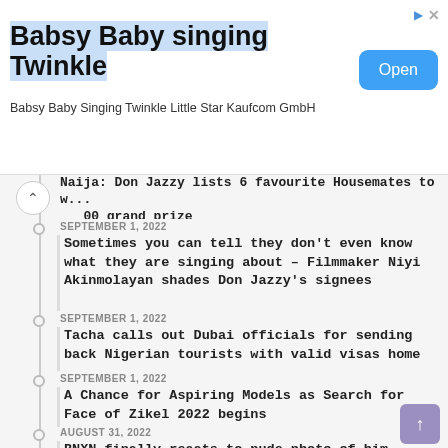[Figure (other): Advertisement banner for 'Babsy Baby singing Twinkle' app by Kaufcom GmbH with Open button]
Naija: Don Jazzy lists 6 favourite Housemates to win N00 grand prize
SEPTEMBER 1, 2022
Sometimes you can tell they don't even know what they are singing about – Filmmaker Niyi Akinmolayan shades Don Jazzy's signees
SEPTEMBER 1, 2022
Tacha calls out Dubai officials for sending back Nigerian tourists with valid visas home
SEPTEMBER 1, 2022
A Chance for Aspiring Models as Search for Face of Zikel 2022 begins
AUGUST 31, 2022
BNXN finally reacts to nude photo of him